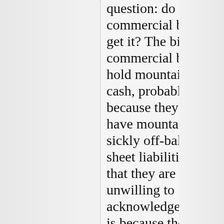question: do commercial banks get it? The big commercial banks hold mountains of cash, probably because they still have mountains of sickly off-balance-sheet liabilities that they are unwilling to acknowledge. Or it is because they fear that other banks are in that position and that this